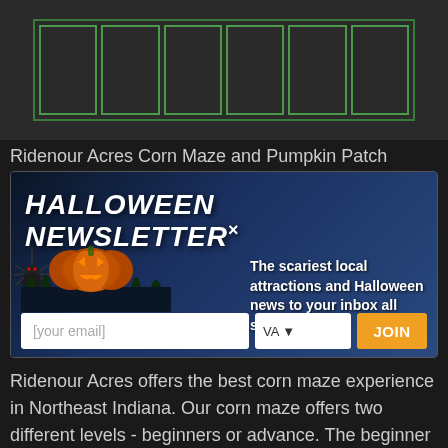[Figure (screenshot): Top partial screenshot showing a green-bordered grid/table with dark background]
Ridenour Acres Corn Maze and Pumpkin Patch
[Figure (screenshot): Halloween Newsletter promotional banner with jack-o-lantern, haunted house, spider, orange JOIN button, email and state form fields. Text reads: HALLOWEEN NEWSLETTER x - The scariest local attractions and Halloween news to your inbox all season long. Input: [your email], VA dropdown, JOIN button.]
Ridenour Acres offers the best corn maze experience in Northeast Indiana. Our corn maze offers two different levels - beginners or advance. The beginner level takes 10-15 minutes to complete while the advanced level